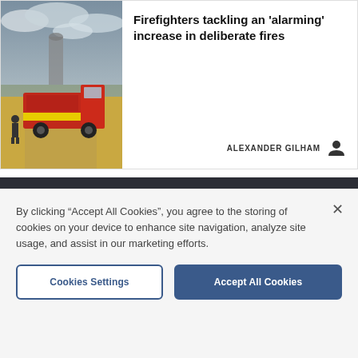[Figure (photo): Photograph of a red and yellow fire truck parked on a dirt road in a dry field with cloudy sky, firefighters visible nearby]
Firefighters tackling an 'alarming' increase in deliberate fires
ALEXANDER GILHAM
Newsletters | About Us | Contact Us | Advertise With Us | All Topics | Complaints | Jobs at Archant | Contributors Charter | Cookie Policy | Privacy Policy |
By clicking “Accept All Cookies”, you agree to the storing of cookies on your device to enhance site navigation, analyze site usage, and assist in our marketing efforts.
Cookies Settings
Accept All Cookies